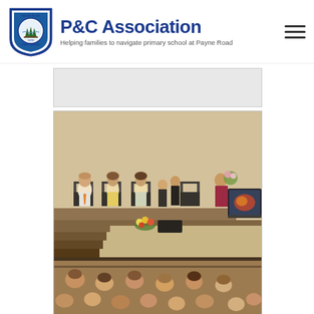[Figure (logo): Payne Road State School P&C Association logo with shield emblem and text 'P&C Association - Helping families to navigate primary school at Payne Road']
[Figure (photo): School assembly or ceremony photo showing adults seated on stage chairs with children presenting flowers, and an audience of students in the foreground. A display screen is visible on the right side of the stage.]